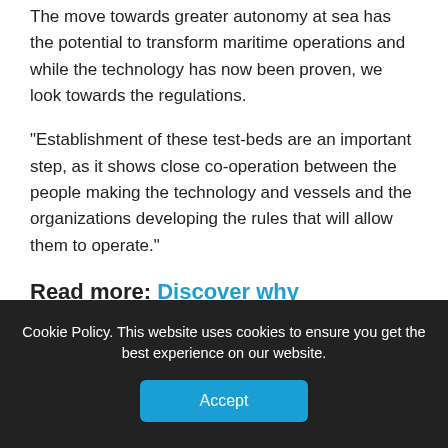The move towards greater autonomy at sea has the potential to transform maritime operations and while the technology has now been proven, we look towards the regulations.
“Establishment of these test-beds are an important step, as it shows close co-operation between the people making the technology and vessels and the organizations developing the rules that will allow them to operate.”
Read more: Discover why automation in container terminals means different
Cookie Policy. This website uses cookies to ensure you get the best experience on our website.